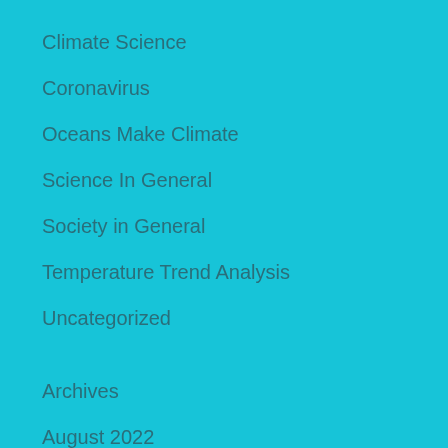Climate Science
Coronavirus
Oceans Make Climate
Science In General
Society in General
Temperature Trend Analysis
Uncategorized
Archives
August 2022
July 2022
June 2022
May 2022